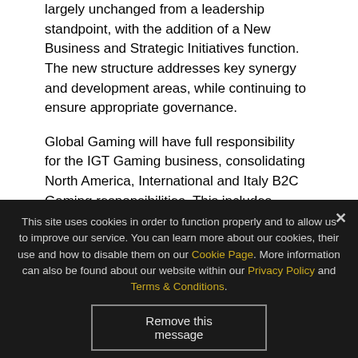largely unchanged from a leadership standpoint, with the addition of a New Business and Strategic Initiatives function. The new structure addresses key synergy and development areas, while continuing to ensure appropriate governance.
Global Gaming will have full responsibility for the IGT Gaming business, consolidating North America, International and Italy B2C Gaming responsibilities. This includes PlayDigital, Sports and Italy Gaming — led by Enrico Drago — as well as Global Gaming Sales, Global Gaming Product...
This site uses cookies in order to function properly and to allow us to improve our service. You can learn more about our cookies, their use and how to disable them on our Cookie Page. More information can also be found about our website within our Privacy Policy and Terms & Conditions.
Remove this message